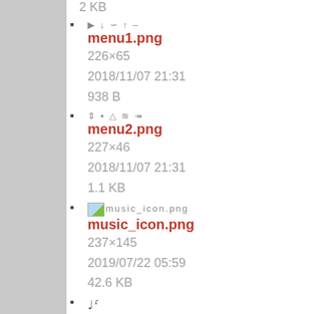2 KB
menu1.png
226×65
2018/11/07 21:31
938 B
menu2.png
227×46
2018/11/07 21:31
1.1 KB
music_icon.png
237×145
2019/07/22 05:59
42.6 KB
musico.png
16×16
2018/11/07 21:31